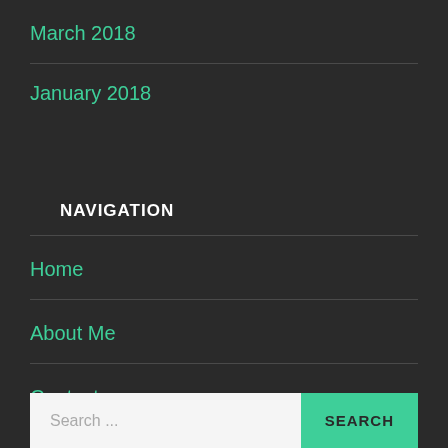March 2018
January 2018
NAVIGATION
Home
About Me
Contact
Search ...  SEARCH